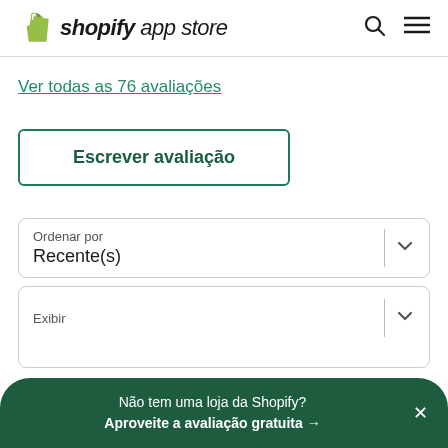shopify app store
Ver todas as 76 avaliações
Escrever avaliação
Ordenar por
Recente(s)
Exibir
Não tem uma loja da Shopify?
Aproveite a avaliação gratuita →